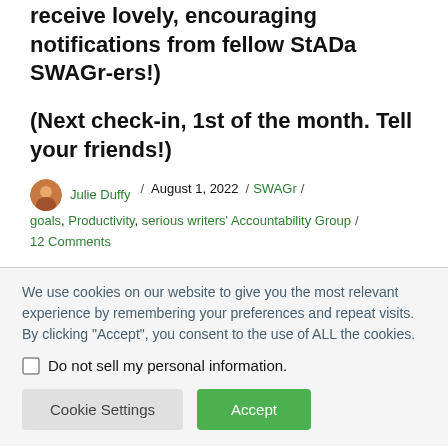receive lovely, encouraging notifications from fellow StADa SWAGr-ers!)
(Next check-in, 1st of the month. Tell your friends!)
Julie Duffy / August 1, 2022 / SWAGr / goals, Productivity, serious writers' Accountability Group / 12 Comments
We use cookies on our website to give you the most relevant experience by remembering your preferences and repeat visits. By clicking "Accept", you consent to the use of ALL the cookies.
Do not sell my personal information.
Cookie Settings
Accept